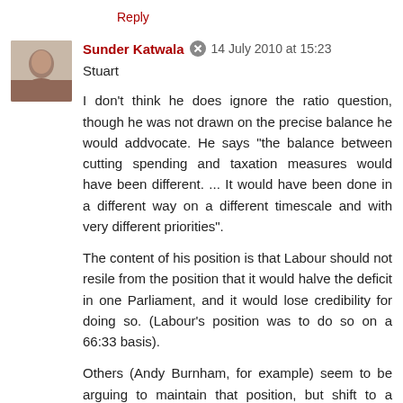Reply
Sunder Katwala  14 July 2010 at 15:23
Stuart
I don't think he does ignore the ratio question, though he was not drawn on the precise balance he would addvocate. He says "the balance between cutting spending and taxation measures would have been different. ... It would have been done in a different way on a different timescale and with very different priorities".
The content of his position is that Labour should not resile from the position that it would halve the deficit in one Parliament, and it would lose credibility for doing so. (Labour's position was to do so on a 66:33 basis).
Others (Andy Burnham, for example) seem to be arguing to maintain that position, but shift to a 50:50basis. McFadden was asked about that, but I don't think explicitly expressed a preference between those different ratios, while being